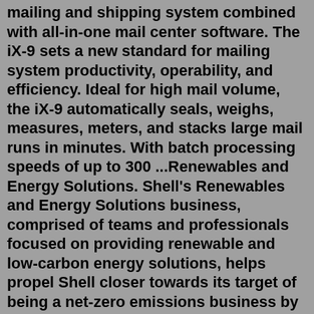mailing and shipping system combined with all-in-one mail center software. The iX-9 sets a new standard for mailing system productivity, operability, and efficiency. Ideal for high mail volume, the iX-9 automatically seals, weighs, measures, meters, and stacks large mail runs in minutes. With batch processing speeds of up to 300 ...Renewables and Energy Solutions. Shell's Renewables and Energy Solutions business, comprised of teams and professionals focused on providing renewable and low-carbon energy solutions, helps propel Shell closer towards its target of being a net-zero emissions business by 2050.A high-output mailing and shipping system combined with all-in-one mail center software. The iX-9 sets a new standard for mailing system productivity, operability, and efficiency. Ideal for high mail volume, the iX-9 automatically seals, weighs, measures, meters, and stacks large mail runs in minutes. With batch processing speeds of up to 300 ...As a purpose-led company, we know we have a pivotal role to play in addressing the climate